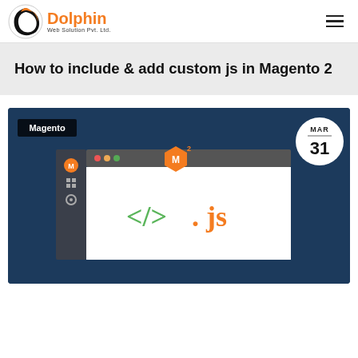Dolphin Web Solution Pvt. Ltd.
How to include & add custom js in Magento 2
[Figure (screenshot): Feature image showing a code editor window with </>.js text and Magento logo on a dark blue background. Includes a 'Magento' badge top left and a date badge showing MAR 31 top right.]